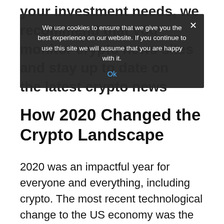your investment needs, we recommend that you monitor crypto news sites and stay up to date on the latest crypto news
We use cookies to ensure that we give you the best experience on our website. If you continue to use this site we will assume that you are happy with it. Ok
How 2020 Changed the Crypto Landscape
2020 was an impactful year for everyone and everything, including crypto. The most recent technological change to the US economy was the impact of retail investors. With retail investors stuck at home with easy access to crypto exchanges on their phones, interest for crypto has skyrocketed. At the same time, 2020 and 2021 saw major “pump and dumps” in the crypto markets, with individuals losing and gaining thousands in highly speculative cryptocurrencies, such as Dogecoin. Needless to say, the US crypto landscape kept on continuing. With